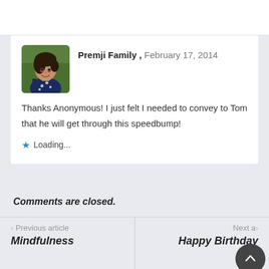Premji Family, February 17, 2014
Thanks Anonymous! I just felt I needed to convey to Tom that he will get through this speedbump!
Loading...
Comments are closed.
< Previous article
Mindfulness
Next a...
Happy Birthday